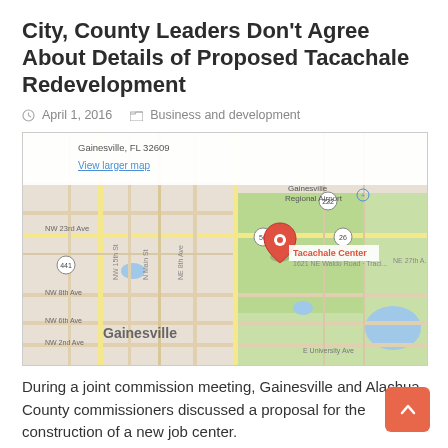City, County Leaders Don’t Agree About Details of Proposed Tacachale Redevelopment
ⓘ April 1, 2016    📁 Business and development
[Figure (map): Google Maps screenshot showing Gainesville, FL 32609. A red location pin is placed at Tacachale Center, located east of central Gainesville near the Gainesville Regional Airport. Major roads visible include NW 23rd Ave, SR 26, SR 20, and US 441. The map shows the street grid of Gainesville with labels for Gainesville Regional Airport and Tacachale Center.]
During a joint commission meeting, Gainesville and Alachua County commissioners discussed a proposal for the construction of a new job center.
Read More »